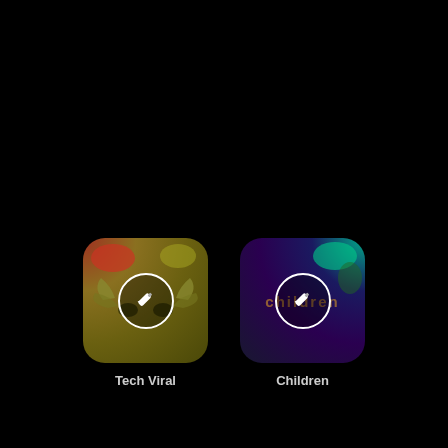[Figure (screenshot): Two app playlist icons on a dark/black background. Left icon labeled 'Tech Viral' showing a golden-olive colored album art with wing motifs and an edit (pencil) circle overlay. Right icon labeled 'Children' showing a dark purple/teal album art with text overlay and an edit (pencil) circle overlay.]
Tech Viral
Children